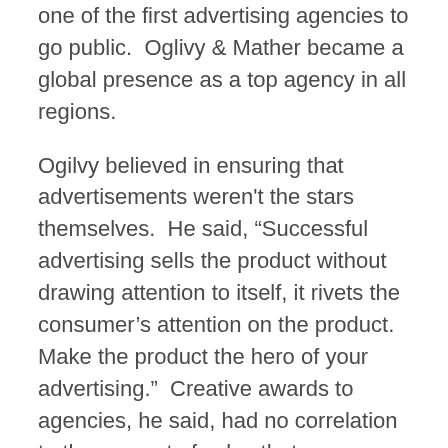one of the first advertising agencies to go public.  Oglivy & Mather became a global presence as a top agency in all regions.
Ogilvy believed in ensuring that advertisements weren't the stars themselves.  He said, “Successful advertising sells the product without drawing attention to itself, it rivets the consumer’s attention on the product.  Make the product the hero of your advertising.”  Creative awards to agencies, he said, had no correlation to the amount of sales that agency could bring.  (source: http://www.infomarketingblog.com/ogilvy-mather-direct-ad-4-how-to-create-advertising-that-sells/)